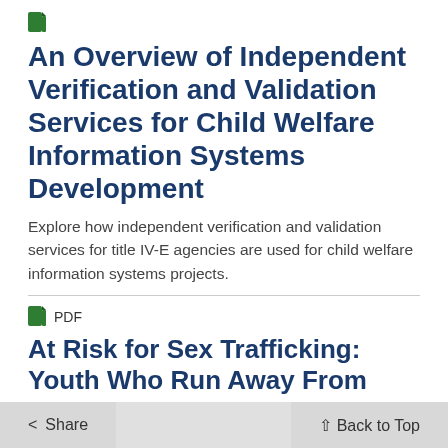[Figure (other): Green PDF file icon at top of page]
An Overview of Independent Verification and Validation Services for Child Welfare Information Systems Development
Explore how independent verification and validation services for title IV-E agencies are used for child welfare information systems projects.
[Figure (other): Green PDF file icon with PDF label]
At Risk for Sex Trafficking: Youth Who Run Away From Foster Care
Explore how data reported in AFCARS about youth who run away from state custody can help inform interventions.
Share   Back to Top